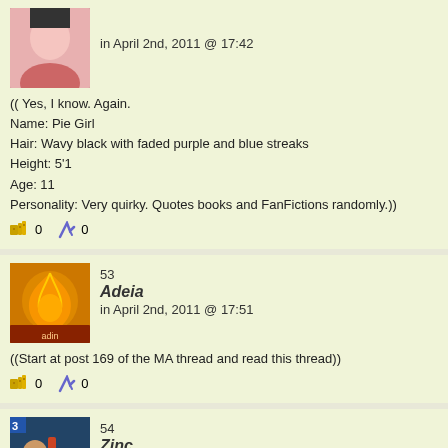in April 2nd, 2011 @ 17:42
(( Yes, I know. Again.
Name: Pie Girl
Hair: Wavy black with faded purple and blue streaks
Height: 5'1
Age: 11
Personality: Very quirky. Quotes books and FanFictions randomly.))
53
Adeia
in April 2nd, 2011 @ 17:51
((Start at post 169 of the MA thread and read this thread))
54
Zinc
in April 3rd, 2011 @ 00:42
I shrugged and waved as the search party leaves the tarp-tent, settling into the s
"In case she comes back."
KA looked back, fiddling with the strap of his bag. "Suit yourself. Just don't wreck
"I won't!" I chirped. "Is anyone else staying with me while I tempt fate and try not